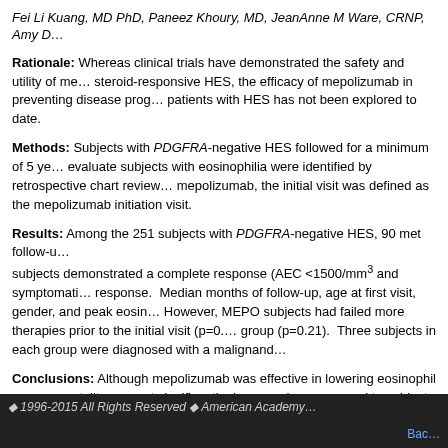Fei Li Kuang, MD PhD, Paneez Khoury, MD, JeanAnne M Ware, CRNP, Amy D...
Rationale: Whereas clinical trials have demonstrated the safety and utility of mepolizumab in steroid-responsive HES, the efficacy of mepolizumab in preventing disease progression in patients with HES has not been explored to date.
Methods: Subjects with PDGFRA-negative HES followed for a minimum of 5 years to evaluate subjects with eosinophilia were identified by retrospective chart review. For mepolizumab, the initial visit was defined as the mepolizumab initiation visit.
Results: Among the 251 subjects with PDGFRA-negative HES, 90 met follow-up criteria. subjects demonstrated a complete response (AEC <1500/mm3 and symptomatic response. Median months of follow-up, age at first visit, gender, and peak eosinophilia. However, MEPO subjects had failed more therapies prior to the initial visit (p=0. group (p=0.21). Three subjects in each group were diagnosed with a malignancy.
Conclusions: Although mepolizumab was effective in lowering eosinophil count, mortality was not significantly decreased as compared to subjects receiving conventional therapy.
See more
See more
<< Previous
1996-2015 All Rights Reserved  American Academy...